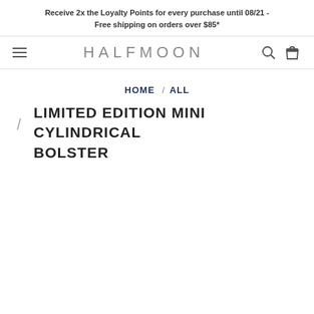Receive 2x the Loyalty Points for every purchase until 08/21 - Free shipping on orders over $85*
HALFMOON
HOME / ALL
LIMITED EDITION MINI CYLINDRICAL BOLSTER